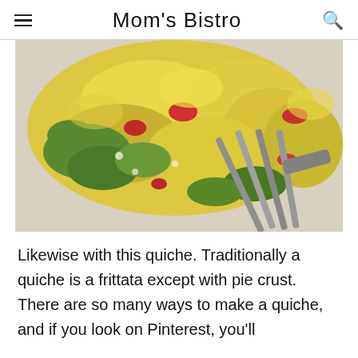Mom's Bistro
[Figure (photo): Close-up photo of a frittata or quiche slice being held by a fork, showing yellow egg, green spinach, and red tomato pieces on a white plate.]
Likewise with this quiche.  Traditionally a quiche is a frittata except with pie crust.  There are so many ways to make a quiche, and if you look on Pinterest, you'll